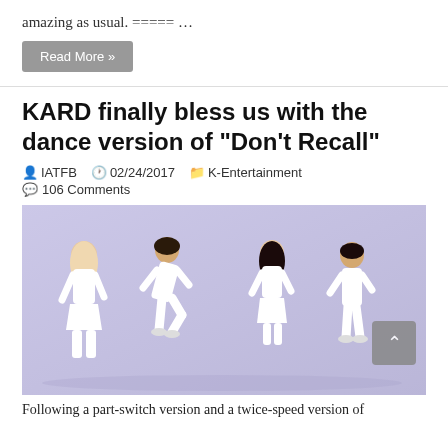amazing as usual. ===== …
Read More »
KARD finally bless us with the dance version of “Don’t Recall”
IATFB  02/24/2017  K-Entertainment  106 Comments
[Figure (photo): Four members of KARD dressed in white outfits performing a dance routine against a purple/lavender background. Two male and two female dancers.]
Following a part-switch version and a twice-speed version of